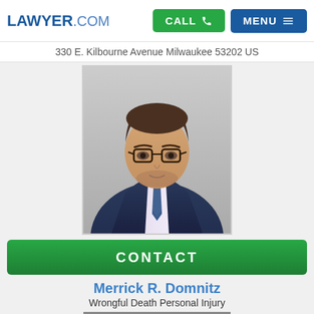LAWYER.COM | CALL | MENU
330 E. Kilbourne Avenue Milwaukee 53202 US
[Figure (photo): Professional headshot of Merrick R. Domnitz, a man with brown hair and glasses wearing a dark suit with a blue patterned tie, light shirt, photographed against a light gray background.]
CONTACT
Merrick R. Domnitz
Wrongful Death Personal Injury
825 N. Jefferson St. Milwaukee 53202 US
[Figure (photo): Partial photo of another lawyer, cropped at bottom of page, showing a person in professional attire with city buildings in the background.]